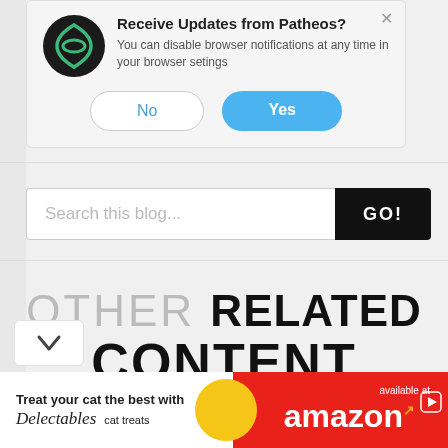[Figure (screenshot): Browser push notification popup from Patheos with logo, title 'Receive Updates from Patheos?', body text, and No/Yes buttons]
[Figure (screenshot): Search bar with placeholder 'Search this blog...' and a black 'GO!' button]
OTHER RELATED CONTENT
[Figure (screenshot): Advertisement banner: 'Treat your cat the best with Delectables cat treats' available at amazon]
[Figure (screenshot): Chevron down arrow button]